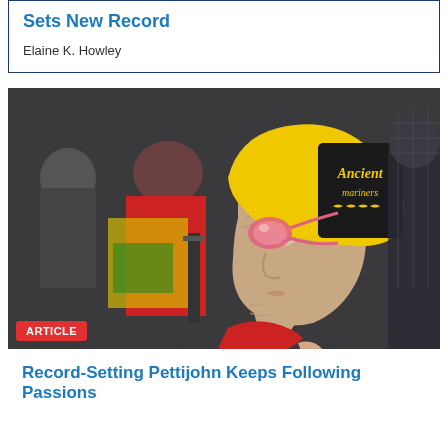Sets New Record
Elaine K. Howley
[Figure (photo): Elderly female swimmer wearing a yellow 'Ancient Mariners' swim cap with black logo and pink swimming goggles, viewed from the side profile. She is wearing a red swimsuit. In the background are other people, including someone in a red shirt and yellow swim gear.]
ARTICLE
Record-Setting Pettijohn Keeps Following Passions